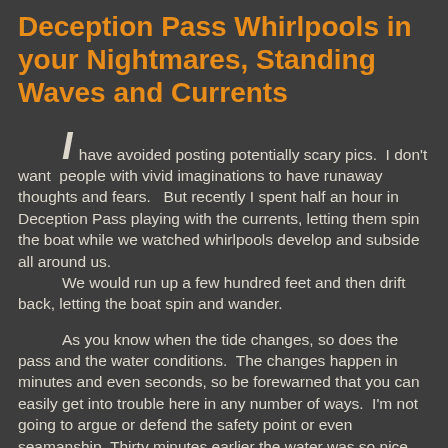Deception Pass Whirlpools in your Nightmares, Standing Waves and Currents
I have avoided posting potentially scary pics.  I don't want  people with vivid imaginations to have runaway thoughts and fears.   But recently I spent half an hour in Deception Pass playing with the currents, letting them spin the boat while we watched whirlpools develop and subside all around us.
      We would run up a few hundred feet and then drift back, letting the boat spin and wander.

      As you know when the tide changes, so does the pass and the water conditions.  The changes happen in minutes and even seconds, so be forewarned that you can easily get into trouble here in any number of ways.  I'm not going to argue or defend the safety point or even seamanship. Thirty minutes earlier the water was so nice you would safely paddle a canoe. Thirty minutes later well that's another story